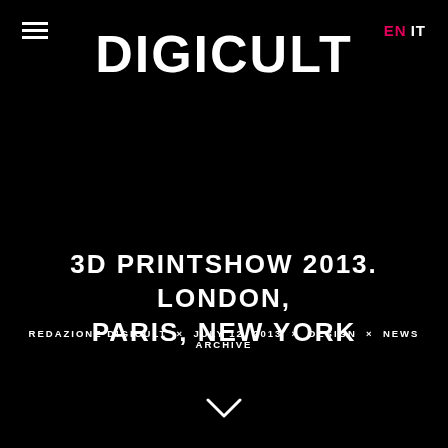DIGICULT EN IT
3D PRINTSHOW 2013. LONDON, PARIS, NEW YORK
REDAZIONE DIGICULT × JULY 12, 2013 × DESIGN × NEWS ARCHIVE